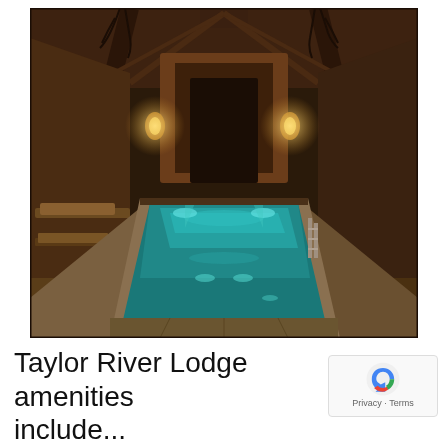[Figure (photo): Interior photo of an indoor swimming pool at night at Taylor River Lodge. The pool is a long rectangular lap pool with glowing blue-teal water, illuminated by underwater lights. The surrounding space features wooden timber-frame architecture with vaulted ceiling, warm amber accent lighting from wall sconces, and lounge chairs visible on the left side.]
Taylor River Lodge amenities include...